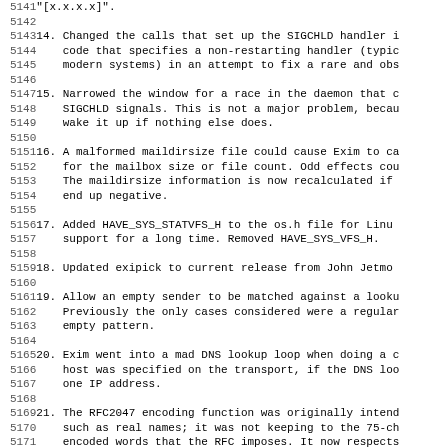Source code / changelog listing lines 5141-5172 with numbered items 14-21 describing Exim MTA changes.
14. Changed the calls that set up the SIGCHLD handler i code that specifies a non-restarting handler (typic modern systems) in an attempt to fix a rare and obs
15. Narrowed the window for a race in the daemon that c SIGCHLD signals. This is not a major problem, becau wake it up if nothing else does.
16. A malformed maildirsize file could cause Exim to ca for the mailbox size or file count. Odd effects cou The maildirsize information is now recalculated if end up negative.
17. Added HAVE_SYS_STATVFS_H to the os.h file for Linu support for a long time. Removed HAVE_SYS_VFS_H.
18. Updated exipick to current release from John Jetmo
19. Allow an empty sender to be matched against a looku Previously the only cases considered were a regular empty pattern.
20. Exim went into a mad DNS lookup loop when doing a c host was specified on the transport, if the DNS loo one IP address.
21. The RFC2047 encoding function was originally intend such as real names; it was not keeping to the 75-ch encoded words that the RFC imposes. It now respects generates multiple encoded words if necessary. To b